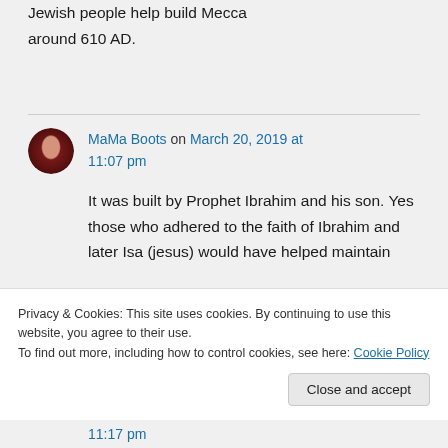Jewish people help build Mecca around 610 AD.
MaMa Boots on March 20, 2019 at 11:07 pm
It was built by Prophet Ibrahim and his son. Yes those who adhered to the faith of Ibrahim and later Isa (jesus) would have helped maintain
Privacy & Cookies: This site uses cookies. By continuing to use this website, you agree to their use.
To find out more, including how to control cookies, see here: Cookie Policy
Close and accept
11:17 pm